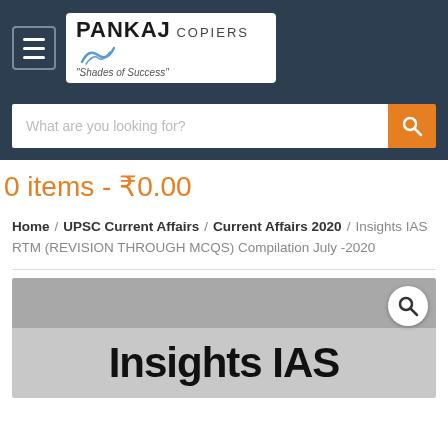[Figure (logo): Pankaj Copiers logo with hamburger menu button on dark navy background]
What are you looking for?
0 items - ₹0.00
Home / UPSC Current Affairs / Current Affairs 2020 / Insights IAS RTM (REVISION THROUGH MCQS) Compilation July -2020
[Figure (photo): Product image showing Insights IAS book cover with magnify button overlay]